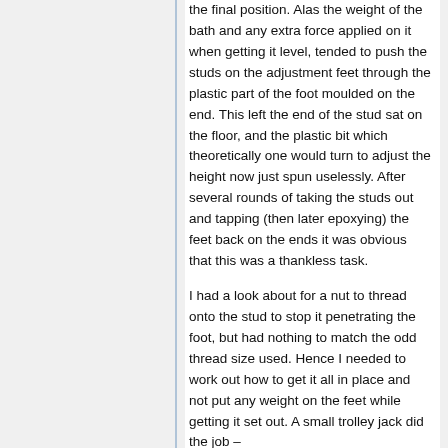the final position. Alas the weight of the bath and any extra force applied on it when getting it level, tended to push the studs on the adjustment feet through the plastic part of the foot moulded on the end. This left the end of the stud sat on the floor, and the plastic bit which theoretically one would turn to adjust the height now just spun uselessly. After several rounds of taking the studs out and tapping (then later epoxying) the feet back on the ends it was obvious that this was a thankless task.
I had a look about for a nut to thread onto the stud to stop it penetrating the foot, but had nothing to match the odd thread size used. Hence I needed to work out how to get it all in place and not put any weight on the feet while getting it set out. A small trolley jack did the job –